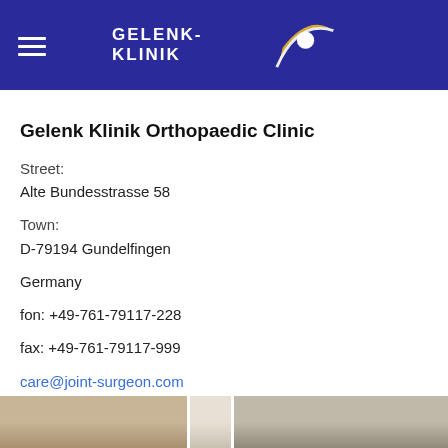GELENK-KLINIK
Gelenk Klinik Orthopaedic Clinic
Street:
Alte Bundesstrasse 58
Town:
D-79194 Gundelfingen
Germany
fon: +49-761-79117-228
fax: +49-761-79117-999
care@joint-surgeon.com
[Figure (photo): Two interior photos of the Gelenk Klinik clinic at the bottom of the page]